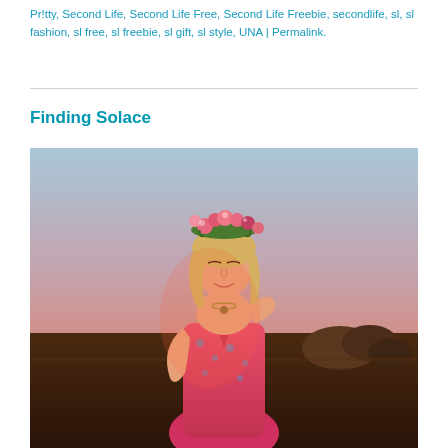Pr!tty, Second Life, Second Life Free, Second Life Freebie, secondlife, sl, sl fashion, sl free, sl freebie, sl gift, sl style, UNA | Permalink.
Finding Solace
[Figure (photo): Second Life avatar: a blonde woman wearing a floral crown headpiece and a red/pink floral sundress, standing outdoors against a dusky sky with rocks in the background.]